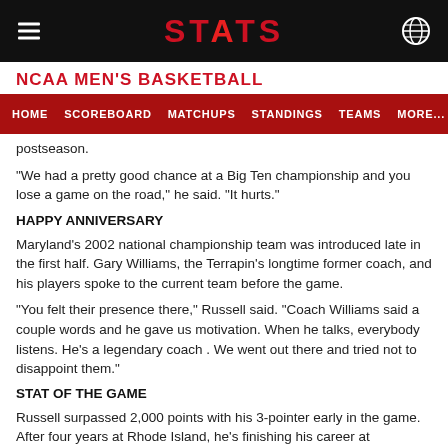STATS
NCAA MEN'S BASKETBALL
HOME   SCOREBOARD   MATCHUPS   STANDINGS   TEAMS   MORE...
postseason.
"We had a pretty good chance at a Big Ten championship and you lose a game on the road," he said. "It hurts."
HAPPY ANNIVERSARY
Maryland's 2002 national championship team was introduced late in the first half. Gary Williams, the Terrapin's longtime former coach, and his players spoke to the current team before the game.
"You felt their presence there," Russell said. "Coach Williams said a couple words and he gave us motivation. When he talks, everybody listens. He's a legendary coach . We went out there and tried not to disappoint them."
STAT OF THE GAME
Russell surpassed 2,000 points with his 3-pointer early in the game. After four years at Rhode Island, he's finishing his career at Maryland.
"I've been through a lot," Russell said.